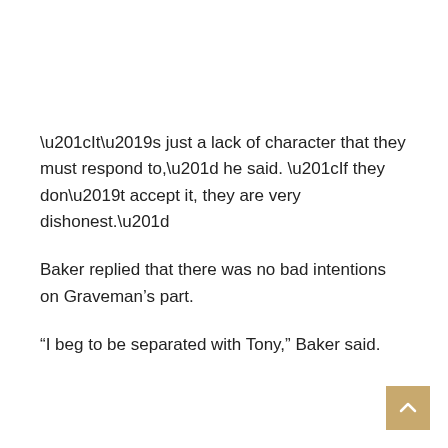“It’s just a lack of character that they must respond to,” he said. “If they don’t accept it, they are very dishonest.”
Baker replied that there was no bad intentions on Graveman’s part.
“I beg to be separated with Tony,” Baker said.